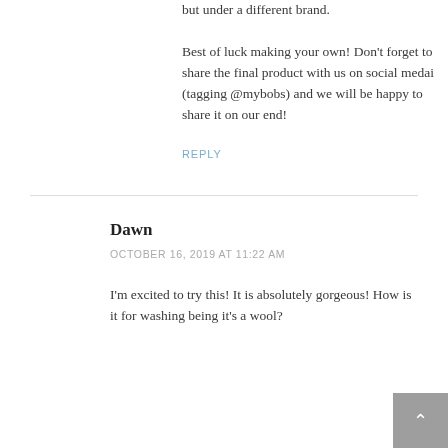but under a different brand. Best of luck making your own! Don't forget to share the final product with us on social medai (tagging @mybobs) and we will be happy to share it on our end!
REPLY
Dawn
OCTOBER 16, 2019 AT 11:22 AM
I'm excited to try this! It is absolutely gorgeous! How is it for washing being it's a wool?